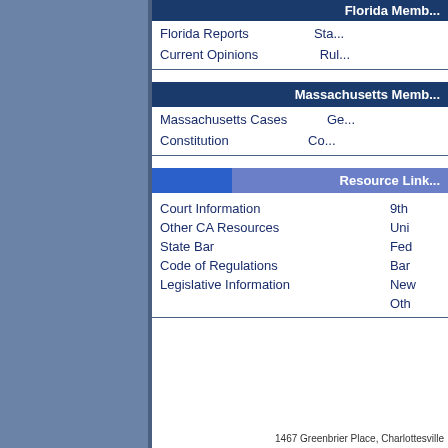Florida Members (partial)
Florida Reports
Current Opinions
Massachusetts Members
Massachusetts Cases
Constitution
Resource Links
Court Information
9th
Other CA Resources
Uni
State Bar
Fed
Code of Regulations
Bar
Legislative Information
New
Oth
1467 Greenbrier Place, Charlottesville